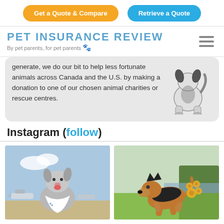Get a Quote & Compare | Retrieve a Quote
PET INSURANCE REVIEW
By pet parents, for pet parents 🐾
generate, we do our bit to help less fortunate animals across Canada and the U.S. by making a donation to one of our chosen animal charities or rescue centres.
[Figure (illustration): Illustration of a dog viewed from behind, black and white coloring]
Instagram (follow)
[Figure (photo): Photo of a gray and white dog wearing a white bandana, standing at an airport with planes in background]
[Figure (photo): Photo of a black and tan German Shepherd dog running on green grass near water with trees in background, with orange paw print decorations in corner]